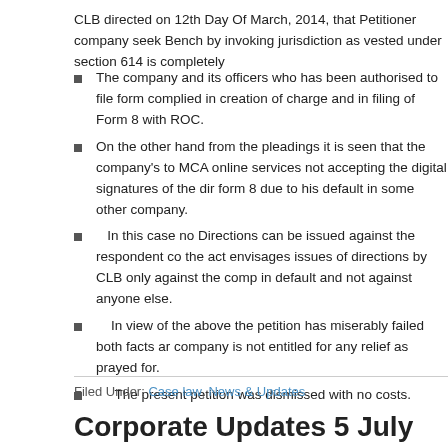CLB directed on 12th Day Of March, 2014, that Petitioner company seek Bench by invoking jurisdiction as vested under section 614 is completely
The company and its officers who has been authorised to file form  complied in creation of charge and in filing of Form 8 with ROC.
On the other hand from the pleadings it is seen that the company's to MCA online services not accepting the digital signatures of the dir form 8 due to his default in some other company.
In this case no Directions can be issued against the respondent co the act envisages issues of directions by CLB only against the comp in default and not against anyone else.
In view of the above the petition has miserably failed both facts ar company is not entitled for any relief as prayed for.
The present petition was dismissed with no costs.
Filed Under: Case law, News & Updates
Corporate Updates 5 July 2014
July 5, 2014 • Leave a Comment
CASE LAW: